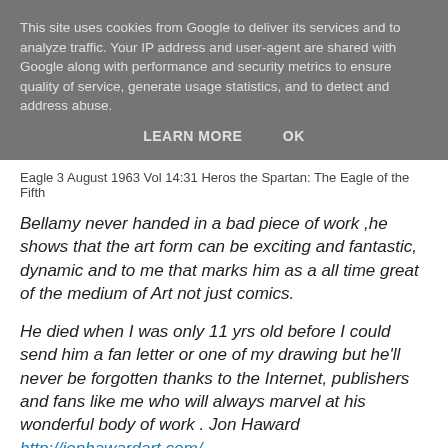This site uses cookies from Google to deliver its services and to analyze traffic. Your IP address and user-agent are shared with Google along with performance and security metrics to ensure quality of service, generate usage statistics, and to detect and address abuse.
LEARN MORE    OK
Eagle 3 August 1963 Vol 14:31 Heros the Spartan: The Eagle of the Fifth
Bellamy never handed in a bad piece of work ,he shows that the art form can be exciting and fantastic, dynamic and to me that marks him as a all time great of the medium of Art not just comics.
He died when I was only 11 yrs old before I could send him a fan letter or one of my drawing but he'll never be forgotten thanks to the Internet, publishers and fans like me who will always marvel at his wonderful body of work . Jon Haward http://jonhawardart.com/